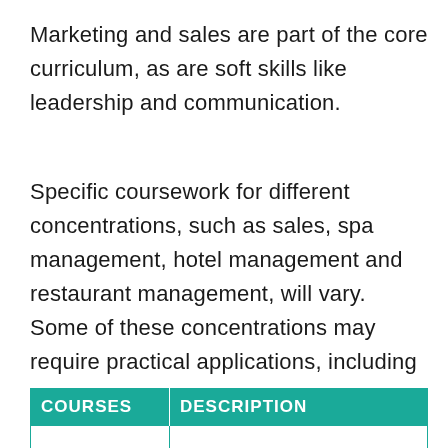Marketing and sales are part of the core curriculum, as are soft skills like leadership and communication.
Specific coursework for different concentrations, such as sales, spa management, hotel management and restaurant management, will vary. Some of these concentrations may require practical applications, including work experience or internships. Examples of general hospitality management courses include:
| COURSES | DESCRIPTION |
| --- | --- |
|  |  |